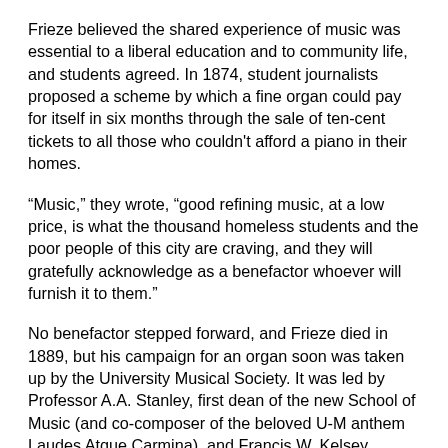Frieze believed the shared experience of music was essential to a liberal education and to community life, and students agreed. In 1874, student journalists proposed a scheme by which a fine organ could pay for itself in six months through the sale of ten-cent tickets to all those who couldn't afford a piano in their homes.
“Music,” they wrote, “good refining music, at a low price, is what the thousand homeless students and the poor people of this city are craving, and they will gratefully acknowledge as a benefactor whoever will furnish it to them.”
No benefactor stepped forward, and Frieze died in 1889, but his campaign for an organ soon was taken up by the University Musical Society. It was led by Professor A.A. Stanley, first dean of the new School of Music (and co-composer of the beloved U-M anthem Laudes Atque Carmina), and Francis W. Kelsey, professor of Latin (and namesake of the Kelsey Museum of Archaeology). Both were indefatigable organizers. First they raised money from townspeople to construct a new building for